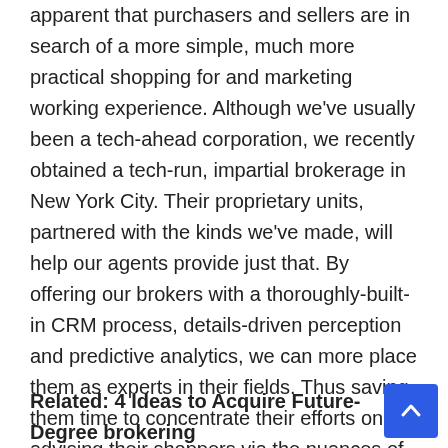apparent that purchasers and sellers are in search of a more simple, much more practical shopping for and marketing working experience. Although we've usually been a tech-ahead corporation, we recently obtained a tech-run, impartial brokerage in New York City. Their proprietary units, partnered with the kinds we've made, will help our agents provide just that. By offering our brokers with a thoroughly-built-in CRM process, details-driven perception and predictive analytics, we can more place them as experts in their fields. Thus saving them time to concentrate their efforts on advising their shoppers via the nuances of the sector.
Related: 4 Ideas to Acquire Future-Degree brokering